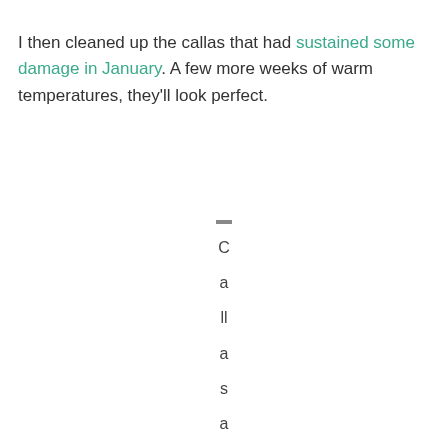I then cleaned up the callas that had sustained some damage in January. A few more weeks of warm temperatures, they'll look perfect.
— Callas along the no